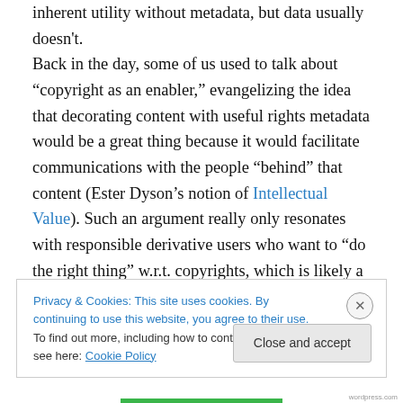inherent utility without metadata, but data usually doesn't. Back in the day, some of us used to talk about "copyright as an enabler," evangelizing the idea that decorating content with useful rights metadata would be a great thing because it would facilitate communications with the people "behind" that content (Ester Dyson's notion of Intellectual Value). Such an argument really only resonates with responsible derivative users who want to "do the right thing" w.r.t. copyrights, which is likely a tiny percentage of users and producers, and indeed is increasingly moot with the popular use of Creative Commons licenses. With
Privacy & Cookies: This site uses cookies. By continuing to use this website, you agree to their use. To find out more, including how to control cookies, see here: Cookie Policy